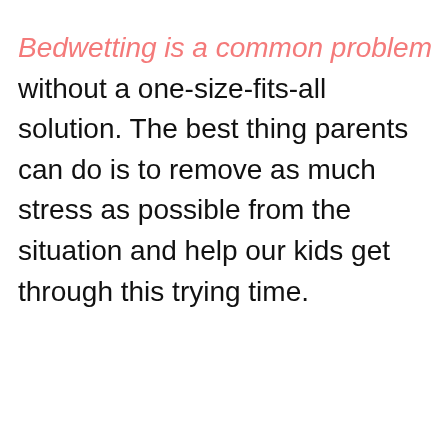Bedwetting is a common problem without a one-size-fits-all solution. The best thing parents can do is to remove as much stress as possible from the situation and help our kids get through this trying time.